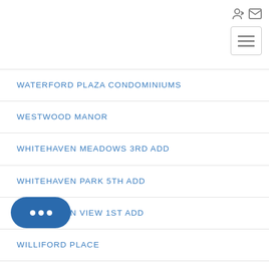[Figure (other): Login and email icons in top right corner]
[Figure (other): Hamburger/navigation menu button in top right area]
WATERFORD PLAZA CONDOMINIUMS
WESTWOOD MANOR
WHITEHAVEN MEADOWS 3RD ADD
WHITEHAVEN PARK 5TH ADD
WHITEHAVEN VIEW 1ST ADD
WILLIFORD PLACE
...RE
YALE BLK B
[Figure (other): Chat bubble button with three dots, positioned bottom left]